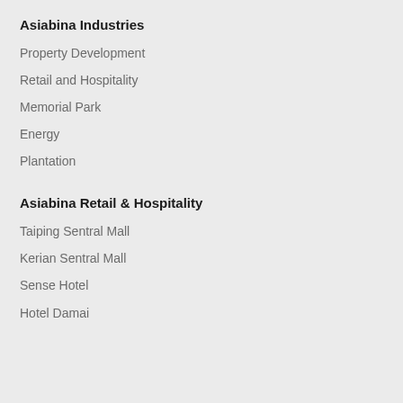Asiabina Industries
Property Development
Retail and Hospitality
Memorial Park
Energy
Plantation
Asiabina Retail & Hospitality
Taiping Sentral Mall
Kerian Sentral Mall
Sense Hotel
Hotel Damai